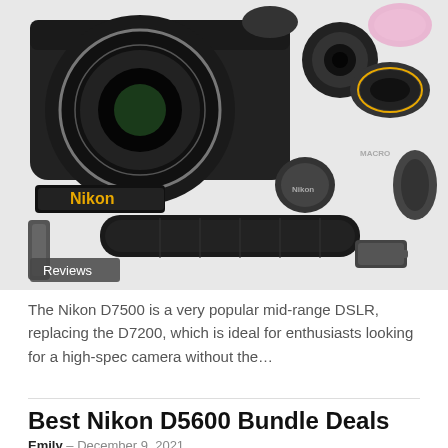[Figure (photo): Nikon D7500 camera with multiple lenses, filters, caps, battery and accessories laid out on white background. 'Reviews' badge overlaid at bottom left.]
The Nikon D7500 is a very popular mid-range DSLR, replacing the D7200, which is ideal for enthusiasts looking for a high-spec camera without the…
Best Nikon D5600 Bundle Deals
Emily – December 9, 2021
[Figure (photo): Nikon D5600 camera with lenses, partially visible at bottom of page.]